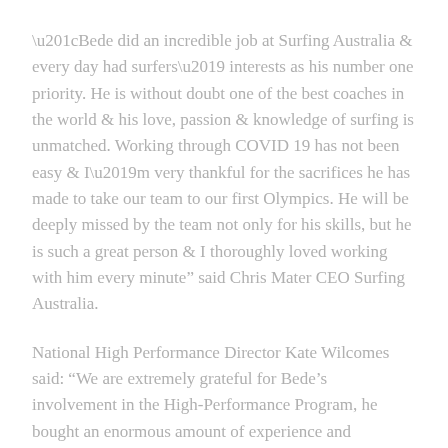“Bede did an incredible job at Surfing Australia & every day had surfers’ interests as his number one priority. He is without doubt one of the best coaches in the world & his love, passion & knowledge of surfing is unmatched. Working through COVID 19 has not been easy & I’m very thankful for the sacrifices he has made to take our team to our first Olympics. He will be deeply missed by the team not only for his skills, but he is such a great person & I thoroughly loved working with him every minute” said Chris Mater CEO Surfing Australia.
National High Performance Director Kate Wilcomes said: “We are extremely grateful for Bede’s involvement in the High-Performance Program, he bought an enormous amount of experience and expertise to the surfers and coaches in the network. A great accomplishment for himself and Surfing in taking The Irukandjis to their first Olympic Games! We will miss him in the Paris cycle but look forward